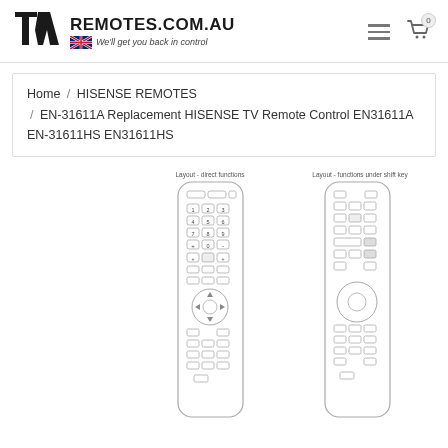[Figure (logo): TV Remotes logo with Australian flag and tagline 'We'll get you back in control']
Home / HISENSE REMOTES / EN-31611A Replacement HISENSE TV Remote Control EN31611A EN-31611HS EN31611HS
[Figure (illustration): Two diagrams of a HISENSE TV remote control. Left diagram labeled 'Layout - direct functions' shows full remote with all buttons. Right diagram labeled 'Layout - functions under shift key' shows alternate button layout.]